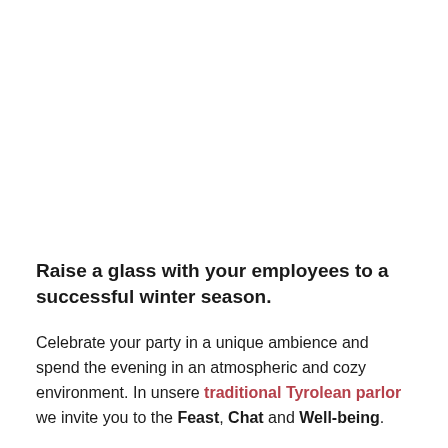Raise a glass with your employees to a successful winter season.
Celebrate your party in a unique ambience and spend the evening in an atmospheric and cozy environment. In unsere traditional Tyrolean parlor we invite you to the Feast, Chat and Well-being.